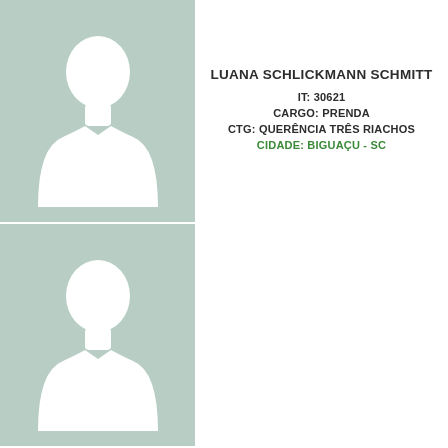[Figure (illustration): Placeholder silhouette of a person (head and shoulders) on a green-grey background, top card]
LUANA SCHLICKMANN SCHMITT
IT: 30621
CARGO: PRENDA
CTG: QUERÊNCIA TRÊS RIACHOS
CIDADE: BIGUAÇU - SC
[Figure (illustration): Placeholder silhouette of a person (head and shoulders) on a green-grey background, bottom card]